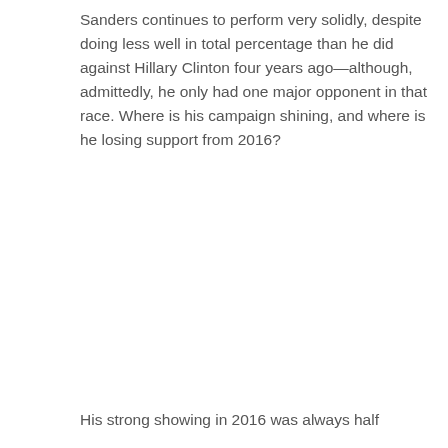Sanders continues to perform very solidly, despite doing less well in total percentage than he did against Hillary Clinton four years ago—although, admittedly, he only had one major opponent in that race. Where is his campaign shining, and where is he losing support from 2016?
His strong showing in 2016 was always half